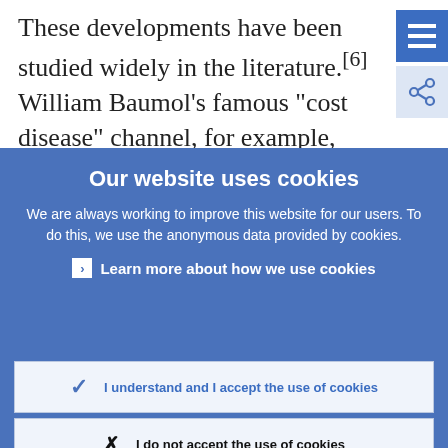These developments have been studied widely in the literature.[6] William Baumol's famous “cost disease” channel, for example,
Our website uses cookies
We are always working to improve this website for our users. To do this, we use the anonymous data provided by cookies.
Learn more about how we use cookies
I understand and I accept the use of cookies
I do not accept the use of cookies